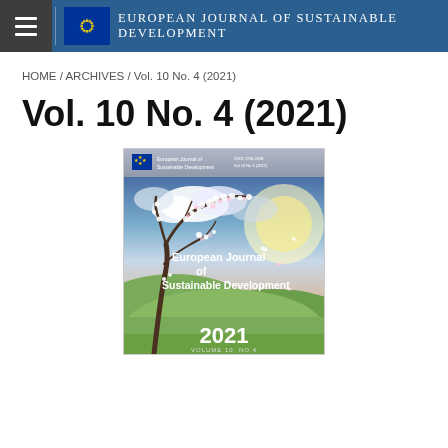European Journal of Sustainable Development
HOME / ARCHIVES / Vol. 10 No. 4 (2021)
Vol. 10 No. 4 (2021)
[Figure (illustration): Cover image of the European Journal of Sustainable Development, Vol. 10 No. 4, 2021. Shows a spring landscape with blooming cherry blossom tree branches in foreground, green rolling hills, dramatic cloudy sky with sunlight. Text overlay reads 'European Journal of Sustainable Development'. Bottom right shows '2021 VOLUME 10, NO.4'.]